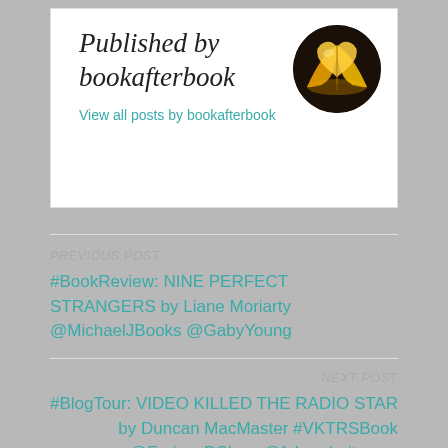Published by bookafterbook
View all posts by bookafterbook
[Figure (illustration): Circular avatar image showing a golden heart-shaped open book on dark background]
PREVIOUS POST
#BookReview: NINE PERFECT STRANGERS by Liane Moriarty @MichaelJBooks @GabyYoung
NEXT POST
#BlogTour: VIDEO KILLED THE RADIO STAR by Duncan MacMaster #VKTRSBook @FuriousDShow @fahrenheitpress @damppebbles